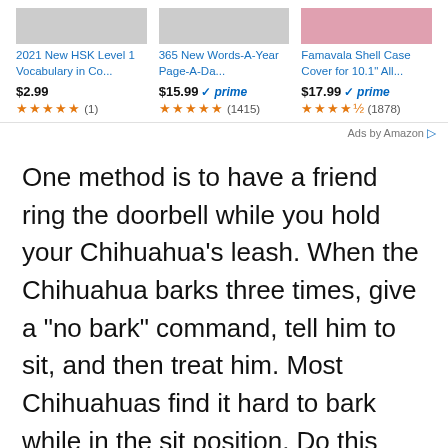[Figure (screenshot): Amazon ad banner showing three products: '2021 New HSK Level 1 Vocabulary in Co...' at $2.99 with 5 stars (1 review), '365 New Words-A-Year Page-A-Da...' at $15.99 Prime with 4.5 stars (1415 reviews), 'Famavala Shell Case Cover for 10.1" All...' at $17.99 Prime with 4.5 stars (1878 reviews). Ads by Amazon label at bottom right.]
One method is to have a friend ring the doorbell while you hold your Chihuahua’s leash. When the Chihuahua barks three times, give a “no bark” command, tell him to sit, and then treat him. Most Chihuahuas find it hard to bark while in the sit position. Do this repeatedly until the Chihuahua understands that when you say “no bark,” his job is over.